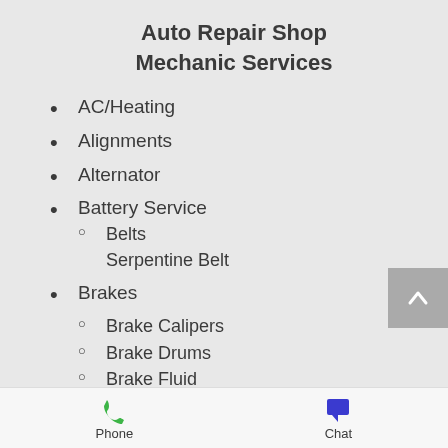Auto Repair Shop Mechanic Services
AC/Heating
Alignments
Alternator
Battery Service
Belts
Serpentine Belt
Brakes
Brake Calipers
Brake Drums
Brake Fluid
Brake Pads
Phone    Chat